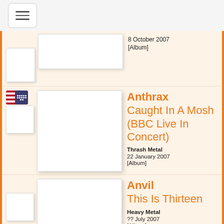[Figure (screenshot): Hamburger menu icon button in top left]
8 October 2007
[Album]
Anthrax
Caught In A Mosh (BBC Live In Concert)
Thrash Metal
22 January 2007
[Album]
Anvil
This Is Thirteen
Heavy Metal
?? July 2007
[Album]